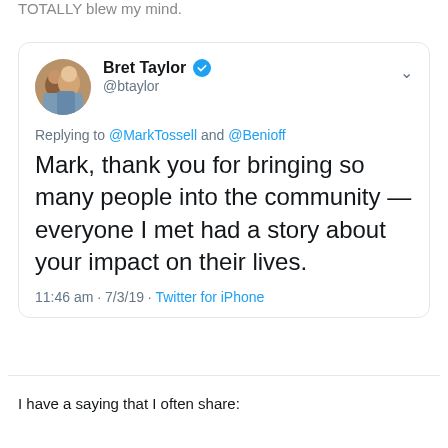TOTALLY blew my mind.
[Figure (screenshot): Tweet from Bret Taylor (@btaylor) replying to @MarkTossell and @Benioff: Mark, thank you for bringing so many people into the community — everyone I met had a story about your impact on their lives. 11:46 am · 7/3/19 · Twitter for iPhone]
I have a saying that I often share: